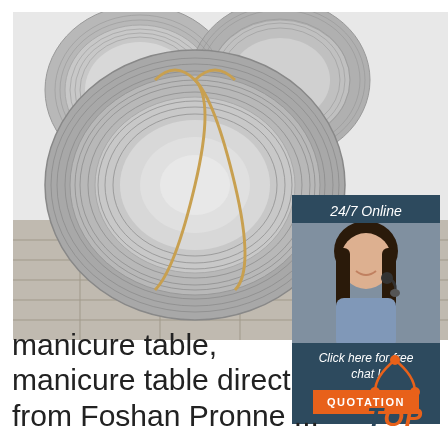[Figure (photo): Large coils of silver steel wire rods stacked in a warehouse on tiled floor]
[Figure (infographic): 24/7 Online chat widget with woman wearing headset, 'Click here for free chat!' text and orange QUOTATION button]
manicure table, manicure table direct from Foshan Pronne ...
[Figure (logo): TOP logo with orange triangle/arc icon and 'TOP' text in orange with dark blue T]